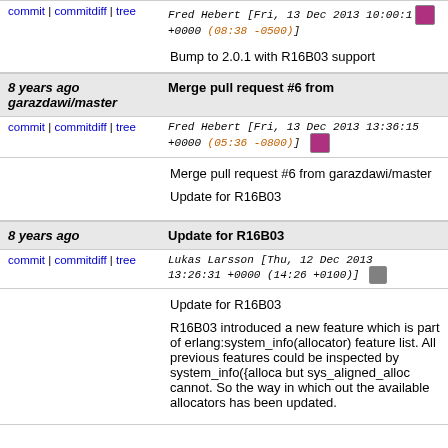commit | commitdiff | tree   Fred Hebert [Fri, 13 Dec 2013 10:00:10 +0000 (08:38 -0500)]
Bump to 2.0.1 with R16B03 support
8 years ago    Merge pull request #6 from garazdawi/master
commit | commitdiff | tree   Fred Hebert [Fri, 13 Dec 2013 13:36:15 +0000 (05:36 -0800)]
Merge pull request #6 from garazdawi/master

Update for R16B03
8 years ago    Update for R16B03
commit | commitdiff | tree   Lukas Larsson [Thu, 12 Dec 2013 13:26:31 +0000 (14:26 +0100)]
Update for R16B03

R16B03 introduced a new feature which is part of erlang:system_info(allocator) feature list. All previous features could be inspected by system_info({alloca... but sys_aligned_alloc cannot. So the way in which out the available allocators has been updated.